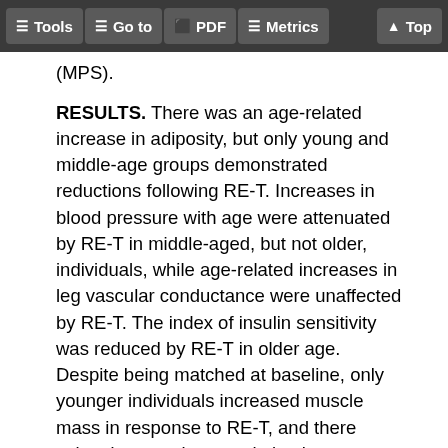Tools  Go to  PDF  Metrics  Top
(MPS).
RESULTS. There was an age-related increase in adiposity, but only young and middle-age groups demonstrated reductions following RE-T. Increases in blood pressure with age were attenuated by RE-T in middle-aged, but not older, individuals, while age-related increases in leg vascular conductance were unaffected by RE-T. The index of insulin sensitivity was reduced by RE-T in older age. Despite being matched at baseline, only younger individuals increased muscle mass in response to RE-T, and there existed a negative correlation between age and muscle growth; in contrast, increases in mechanical quality were preserved across ages. Acute increases in MPS (upon feeding plus acute RE-T) were enhanced only in younger individuals